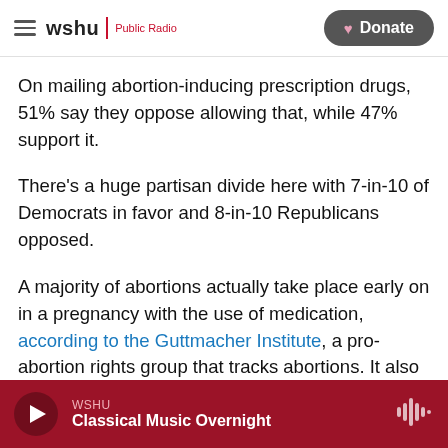wshu | Public Radio  [Donate button]
On mailing abortion-inducing prescription drugs, 51% say they oppose allowing that, while 47% support it.
There's a huge partisan divide here with 7-in-10 of Democrats in favor and 8-in-10 Republicans opposed.
A majority of abortions actually take place early on in a pregnancy with the use of medication, according to the Guttmacher Institute, a pro-abortion rights group that tracks abortions. It also notes that overall nearly 9-in-10 abortions take
WSHU  Classical Music Overnight